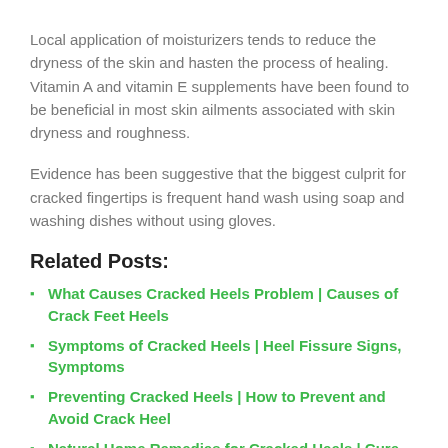Local application of moisturizers tends to reduce the dryness of the skin and hasten the process of healing. Vitamin A and vitamin E supplements have been found to be beneficial in most skin ailments associated with skin dryness and roughness.
Evidence has been suggestive that the biggest culprit for cracked fingertips is frequent hand wash using soap and washing dishes without using gloves.
Related Posts:
What Causes Cracked Heels Problem | Causes of Crack Feet Heels
Symptoms of Cracked Heels | Heel Fissure Signs, Symptoms
Preventing Cracked Heels | How to Prevent and Avoid Crack Heel
Natural Home Remedies for Cracked Heels | Cure Heel Fissure, Cracked Heels
Diet for Cracked Heels Treatment | Foods for Heel